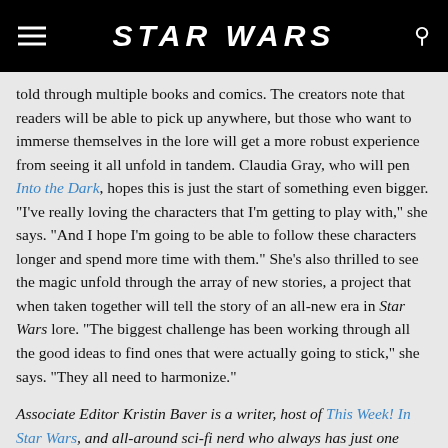STAR WARS
told through multiple books and comics. The creators note that readers will be able to pick up anywhere, but those who want to immerse themselves in the lore will get a more robust experience from seeing it all unfold in tandem. Claudia Gray, who will pen Into the Dark, hopes this is just the start of something even bigger. "I've really loving the characters that I'm getting to play with," she says. "And I hope I'm going to be able to follow these characters longer and spend more time with them." She's also thrilled to see the magic unfold through the array of new stories, a project that when taken together will tell the story of an all-new era in Star Wars lore. "The biggest challenge has been working through all the good ideas to find ones that were actually going to stick," she says. "They all need to harmonize."
Associate Editor Kristin Baver is a writer, host of This Week! In Star Wars, and all-around sci-fi nerd who always has just one more question in an inexhaustible list of curiosities.